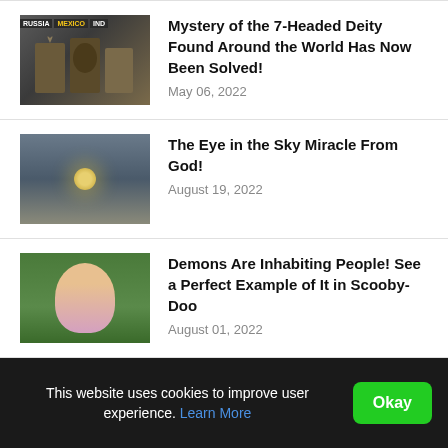Mystery of the 7-Headed Deity Found Around the World Has Now Been Solved! — May 06, 2022
The Eye in the Sky Miracle From God! — August 19, 2022
Demons Are Inhabiting People! See a Perfect Example of It in Scooby-Doo — August 01, 2022
Vatican City Bombshell: "Keyhole" Mystery Solved - Will Rock The World Forever! — May 28, 2019
This website uses cookies to improve user experience. Learn More
Okay